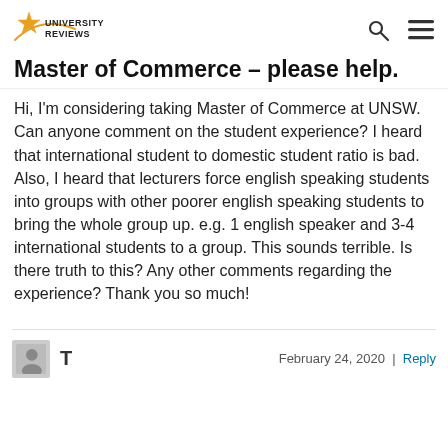University Reviews
Master of Commerce – please help.
Hi, I'm considering taking Master of Commerce at UNSW. Can anyone comment on the student experience? I heard that international student to domestic student ratio is bad. Also, I heard that lecturers force english speaking students into groups with other poorer english speaking students to bring the whole group up. e.g. 1 english speaker and 3-4 international students to a group. This sounds terrible. Is there truth to this? Any other comments regarding the experience? Thank you so much!
T    February 24, 2020 | Reply